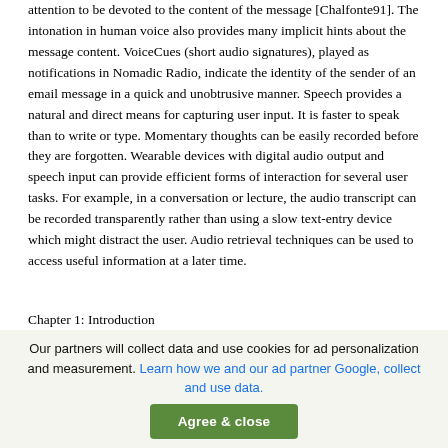attention to be devoted to the content of the message [Chalfonte91]. The intonation in human voice also provides many implicit hints about the message content. VoiceCues (short audio signatures), played as notifications in Nomadic Radio, indicate the identity of the sender of an email message in a quick and unobtrusive manner. Speech provides a natural and direct means for capturing user input. It is faster to speak than to write or type. Momentary thoughts can be easily recorded before they are forgotten. Wearable devices with digital audio output and speech input can provide efficient forms of interaction for several user tasks. For example, in a conversation or lecture, the audio transcript can be recorded transparently rather than using a slow text-entry device which might distract the user. Audio retrieval techniques can be used to access useful information at a later time.
Chapter 1: Introduction
19